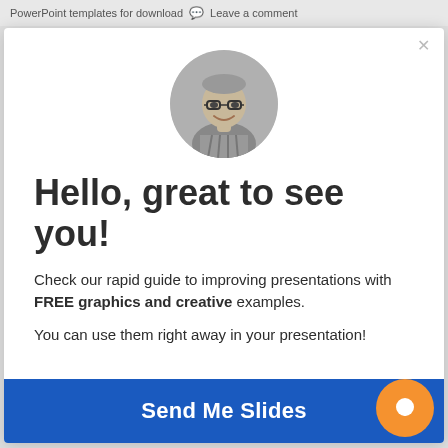PowerPoint templates for download  💬 Leave a comment
[Figure (photo): Black and white circular avatar photo of a smiling man with glasses]
Hello, great to see you!
Check our rapid guide to improving presentations with FREE graphics and creative examples.
You can use them right away in your presentation!
Send Me Slides